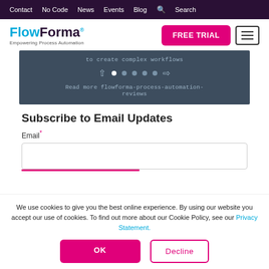Contact  No Code  News  Events  Blog  Search
[Figure (logo): FlowForma logo with tagline 'Empowering Process Automation' and FREE TRIAL button]
[Figure (screenshot): Slider widget showing 'to create complex workflows' text, navigation dots, and link 'Read more flowforma-process-automation-reviews']
Subscribe to Email Updates
Email*
We use cookies to give you the best online experience. By using our website you accept our use of cookies. To find out more about our Cookie Policy, see our Privacy Statement.